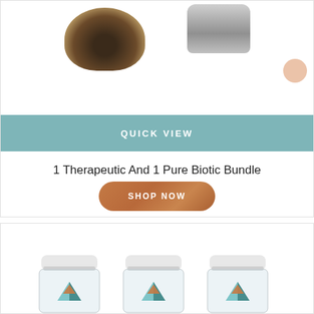[Figure (photo): Product photo showing two supplement containers - a dark round jar on left and a grey rectangular container on right, partially cropped at top]
QUICK VIEW
1 Therapeutic And 1 Pure Biotic Bundle
SHOP NOW
[Figure (photo): Second product card showing three clear supplement jars with white lids and teal/copper mountain logo branding, partially visible at bottom of page. Wishlist heart icon visible in top left corner of card.]